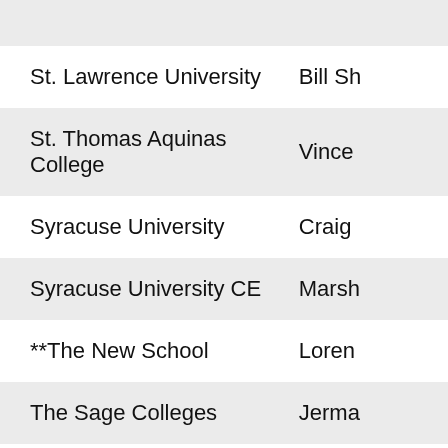| Institution | Contact |
| --- | --- |
| St. Lawrence University | Bill Sh… |
| St. Thomas Aquinas College | Vince… |
| Syracuse University | Craig… |
| Syracuse University CE | Marsh… |
| **The New School | Loren… |
| The Sage Colleges | Jerma… |
| Trocaire College | Verja… |